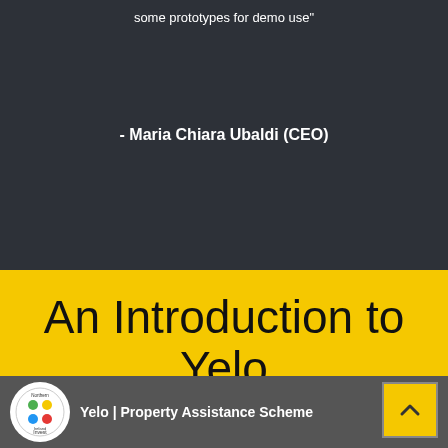some prototypes for demo use"
- Maria Chiara Ubaldi (CEO)
An Introduction to Yelo
[Figure (screenshot): Video thumbnail showing Yelo Property Assistance Scheme with Invest Northern Ireland logo]